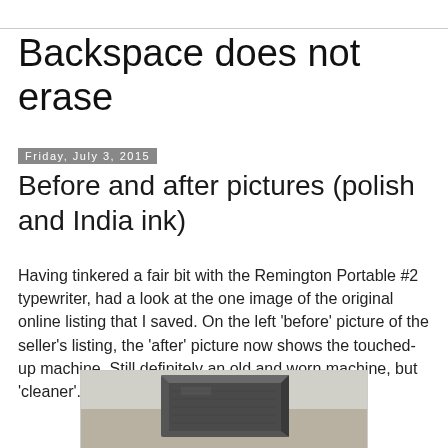Backspace does not erase
Friday, July 3, 2015
Before and after pictures (polish and India ink)
Having tinkered a fair bit with the Remington Portable #2 typewriter, had a look at the one image of the original online listing that I saved. On the left 'before' picture of the seller's listing, the 'after' picture now shows the touched-up machine. Still definitely an old and worn machine, but 'cleaner'.
[Figure (photo): Close-up photo of a dark metallic typewriter part, likely a key or component, showing a worn dark grey/black surface with visible texture and wear marks.]